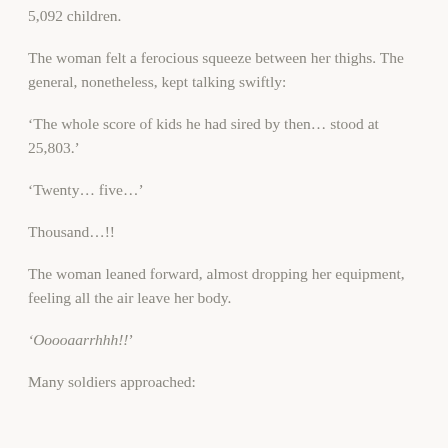5,092 children.
The woman felt a ferocious squeeze between her thighs. The general, nonetheless, kept talking swiftly:
‘The whole score of kids he had sired by then… stood at 25,803.’
‘Twenty… five…’
Thousand…!!
The woman leaned forward, almost dropping her equipment, feeling all the air leave her body.
‘Ooooaarrhhh!!’
Many soldiers approached: